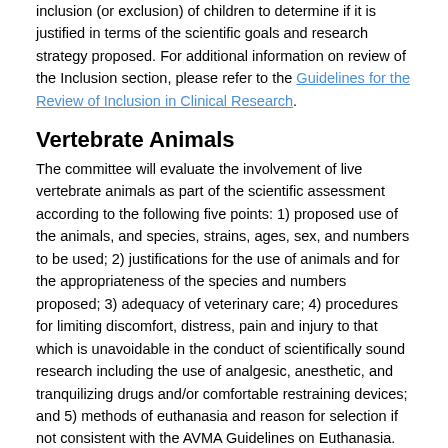inclusion (or exclusion) of children to determine if it is justified in terms of the scientific goals and research strategy proposed. For additional information on review of the Inclusion section, please refer to the Guidelines for the Review of Inclusion in Clinical Research.
Vertebrate Animals
The committee will evaluate the involvement of live vertebrate animals as part of the scientific assessment according to the following five points: 1) proposed use of the animals, and species, strains, ages, sex, and numbers to be used; 2) justifications for the use of animals and for the appropriateness of the species and numbers proposed; 3) adequacy of veterinary care; 4) procedures for limiting discomfort, distress, pain and injury to that which is unavoidable in the conduct of scientifically sound research including the use of analgesic, anesthetic, and tranquilizing drugs and/or comfortable restraining devices; and 5) methods of euthanasia and reason for selection if not consistent with the AVMA Guidelines on Euthanasia. For additional information on review of the Vertebrate Animals section, please refer to the Worksheet for Review of the Vertebrate Animal Section.
Biohazards